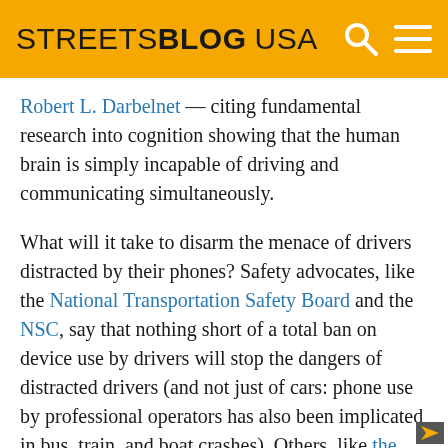STREETSBLOG USA
Robert L. Darbelnet — citing fundamental research into cognition showing that the human brain is simply incapable of driving and communicating simultaneously.
What will it take to disarm the menace of drivers distracted by their phones? Safety advocates, like the National Transportation Safety Board and the NSC, say that nothing short of a total ban on device use by drivers will stop the dangers of distracted drivers (and not just of cars: phone use by professional operators has also been implicated in bus, train, and boat crashes). Others, like the American Association of Orthopaedic Surgeons, make an analogy to drunk driving laws. Two forces — an effective national